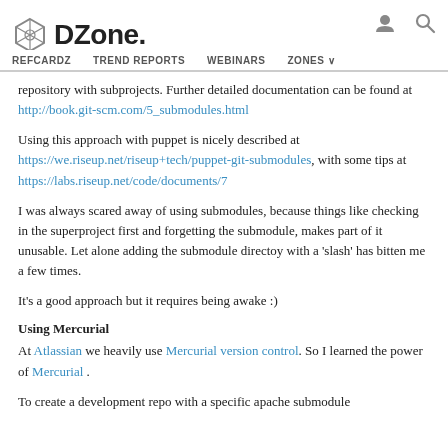DZone. | REFCARDZ | TREND REPORTS | WEBINARS | ZONES
repository with subprojects. Further detailed documentation can be found at http://book.git-scm.com/5_submodules.html
Using this approach with puppet is nicely described at https://we.riseup.net/riseup+tech/puppet-git-submodules, with some tips at https://labs.riseup.net/code/documents/7
I was always scared away of using submodules, because things like checking in the superproject first and forgetting the submodule, makes part of it unusable. Let alone adding the submodule directoy with a 'slash' has bitten me a few times.
It's a good approach but it requires being awake :)
Using Mercurial
At Atlassian we heavily use Mercurial version control. So I learned the power of Mercurial .
To create a development repo with a specific apache submodule